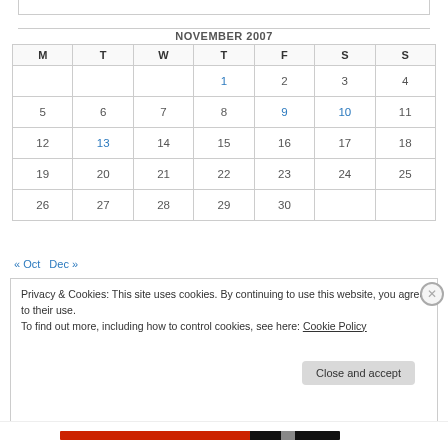NOVEMBER 2007
| M | T | W | T | F | S | S |
| --- | --- | --- | --- | --- | --- | --- |
|  |  |  | 1 | 2 | 3 | 4 |
| 5 | 6 | 7 | 8 | 9 | 10 | 11 |
| 12 | 13 | 14 | 15 | 16 | 17 | 18 |
| 19 | 20 | 21 | 22 | 23 | 24 | 25 |
| 26 | 27 | 28 | 29 | 30 |  |  |
« Oct   Dec »
Privacy & Cookies: This site uses cookies. By continuing to use this website, you agree to their use.
To find out more, including how to control cookies, see here: Cookie Policy
Close and accept